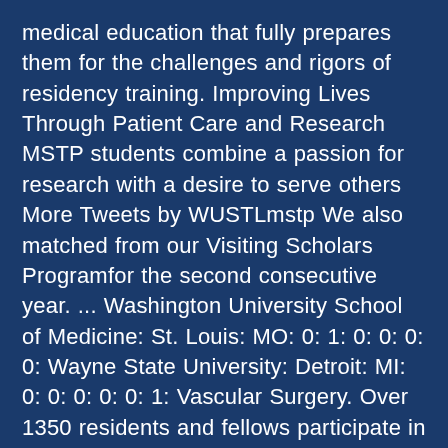medical education that fully prepares them for the challenges and rigors of residency training. Improving Lives Through Patient Care and Research MSTP students combine a passion for research with a desire to serve others More Tweets by WUSTLmstp We also matched from our Visiting Scholars Programfor the second consecutive year. ... Washington University School of Medicine: St. Louis: MO: 0: 1: 0: 0: 0: 0: Wayne State University: Detroit: MI: 0: 0: 0: 0: 0: 1: Vascular Surgery. Over 1350 residents and fellows participate in 32 residency and 82 clinical fellowship programs accredited by the Accreditation Council for Graduate Medical Education (ACGME) throughout Washington, Wyoming, Alaska, Montana, Idaho. Physical Medicine and Rehabilitation (1) Northwestern McGaw/RIC-IL. wuintmed@email.wustl.edu. Spokane, WA 99202-2131 medicine@wsu.edu 509-358-7944 Washington State University WSU Elson S. Floyd...